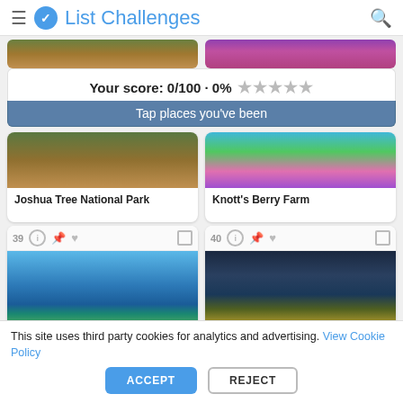[Figure (screenshot): List Challenges website header with logo, hamburger menu, and search icon]
Your score: 0/100 · 0% ★★★★★
Tap places you've been
[Figure (photo): Joshua Tree National Park landscape photo (partial, top cut off)]
Joshua Tree National Park
[Figure (photo): Knott's Berry Farm amusement park photo (partial, top cut off)]
Knott's Berry Farm
[Figure (photo): Lake Tahoe scenic view with snow-capped mountains, item 39]
[Figure (photo): Yellowstone geothermal feature at night, item 40]
This site uses third party cookies for analytics and advertising. View Cookie Policy
ACCEPT
REJECT